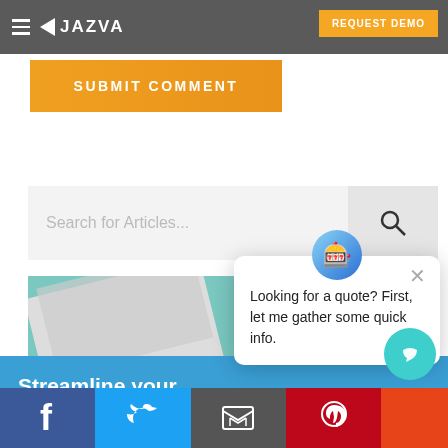JAZVA — REQUEST DEMO
SUBMIT COMMENT
Search for Articles...
[Figure (screenshot): Partial photo of notebooks/stationery on a teal background]
Streamline your inventory through Jazva!
[Figure (infographic): Chatbot popup with avatar icon saying: Looking for a quote? First, let me gather some quick info.]
Social share bar: Facebook, Twitter, Email, Pinterest, Chat